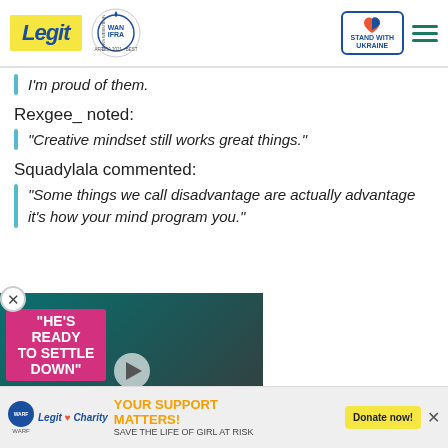Legit | WAN IFRA 2021 Best News Website in Africa | Stand with Ukraine
I'm proud of them.
Rexgee_ noted:
"Creative mindset still works great things."
Squadylala commented:
"Some things we call disadvantage are actually advantage it's how your mind program you."
[Figure (photo): Video thumbnail showing a man in suit and a woman in pink dress, with overlay text 'HE'S READY TO SETTLE DOWN' on a pink banner and a play button.]
YOUR SUPPORT MATTERS! SAVE THE LIFE OF GIRL AT RISK